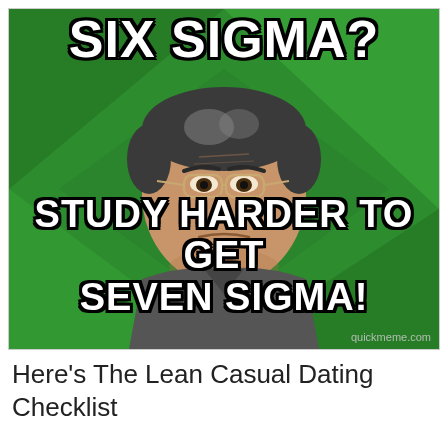[Figure (illustration): Internet meme (High Expectations Asian Father) on a green geometric background. Top text reads 'SIX SIGMA?' and bottom text reads 'STUDY HARDER TO GET SEVEN SIGMA!' with watermark 'quickmeme.com']
Here's The Lean Casual Dating Checklist